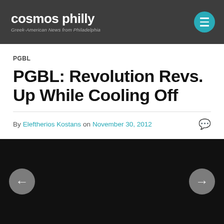cosmos philly — Greek-American News from Philadelphia
PGBL
PGBL: Revolution Revs. Up While Cooling Off
By Eleftherios Kostans on November 30, 2012
[Figure (photo): Dark/black image area with left and right navigation arrows (carousel image viewer)]